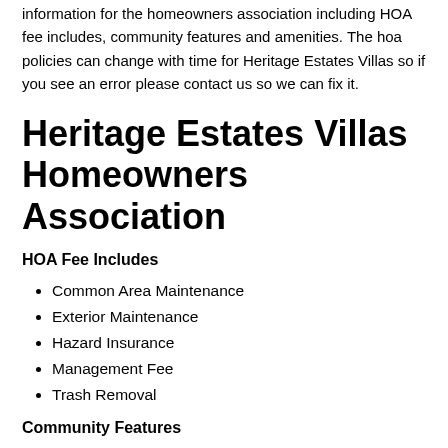information for the homeowners association including HOA fee includes, community features and amenities. The hoa policies can change with time for Heritage Estates Villas so if you see an error please contact us so we can fix it.
Heritage Estates Villas Homeowners Association
HOA Fee Includes
Common Area Maintenance
Exterior Maintenance
Hazard Insurance
Management Fee
Trash Removal
Community Features